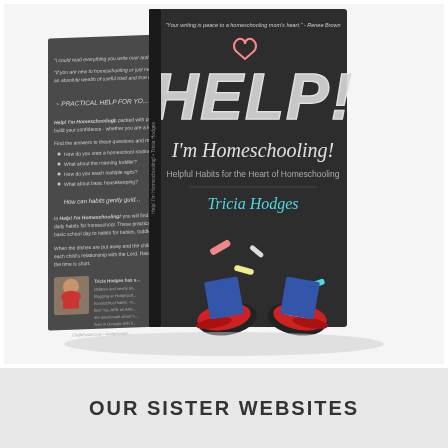[Figure (photo): Book cover photo showing two views of 'Help! I'm Homeschooling! Helpful Habits for the Heart of Homeschooling' by Tricia Hodges. The front cover features chalk-style lettering on a dark chalkboard background with red sneakers at the bottom. The back cover shows endorsement quotes, bullet points of content, and an author photo.]
OUR SISTER WEBSITES